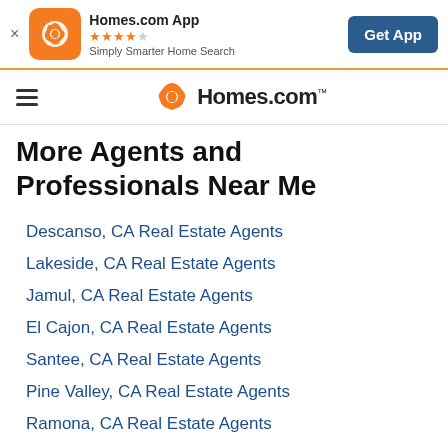Homes.com App  ★★★★★  Simply Smarter Home Search  Get App
Homes.com
More Agents and Professionals Near Me
Descanso, CA Real Estate Agents
Lakeside, CA Real Estate Agents
Jamul, CA Real Estate Agents
El Cajon, CA Real Estate Agents
Santee, CA Real Estate Agents
Pine Valley, CA Real Estate Agents
Ramona, CA Real Estate Agents
La Mesa, CA Real Estate Agents